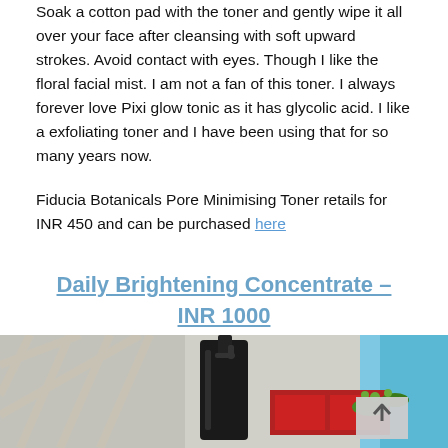Soak a cotton pad with the toner and gently wipe it all over your face after cleansing with soft upward strokes. Avoid contact with eyes. Though I like the floral facial mist. I am not a fan of this toner. I always forever love Pixi glow tonic as it has glycolic acid. I like a exfoliating toner and I have been using that for so many years now.
Fiducia Botanicals Pore Minimising Toner retails for INR 450 and can be purchased here
Daily Brightening Concentrate – INR 1000
[Figure (photo): Product photo showing a dark pump bottle of Daily Brightening Concentrate surrounded by colorful decorative elements including red and green ribbons, green berries, and a blurred background with geometric patterns.]